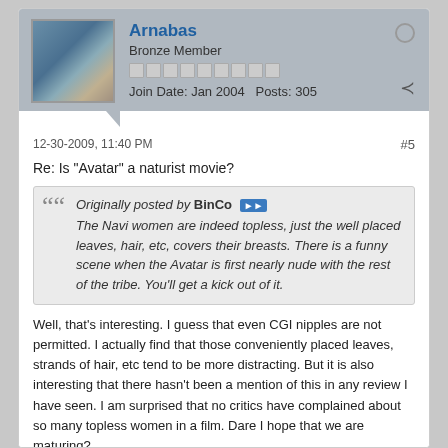Arnabas
Bronze Member
Join Date: Jan 2004   Posts: 305
12-30-2009, 11:40 PM
#5
Re: Is "Avatar" a naturist movie?
Originally posted by BinCo
The Navi women are indeed topless, just the well placed leaves, hair, etc, covers their breasts. There is a funny scene when the Avatar is first nearly nude with the rest of the tribe. You'll get a kick out of it.
Well, that's interesting. I guess that even CGI nipples are not permitted. I actually find that those conveniently placed leaves, strands of hair, etc tend to be more distracting. But it is also interesting that there hasn't been a mention of this in any review I have seen. I am surprised that no critics have complained about so many topless women in a film. Dare I hope that we are maturing?
I'd love it if they could show the characters bare-breasted, nipples and all, without anyone even taking note of it, because it is a non-issue and relevent to the story/ setting.